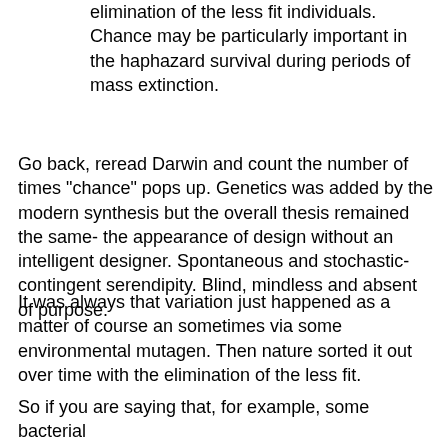elimination of the less fit individuals. Chance may be particularly important in the haphazard survival during periods of mass extinction.
Go back, reread Darwin and count the number of times "chance" pops up. Genetics was added by the modern synthesis but the overall thesis remained the same- the appearance of design without an intelligent designer. Spontaneous and stochastic- contingent serendipity. Blind, mindless and absent of purpose.
It was always that variation just happened as a matter of course an sometimes via some environmental mutagen. Then nature sorted it out over time with the elimination of the less fit.
So if you are saying that, for example, some bacterial flagellum evolved via those blind and mindless processes, then yes, the onus is on you to demonstrate such a thing is possible.
You do NOT get to act like the evo-cowards over on